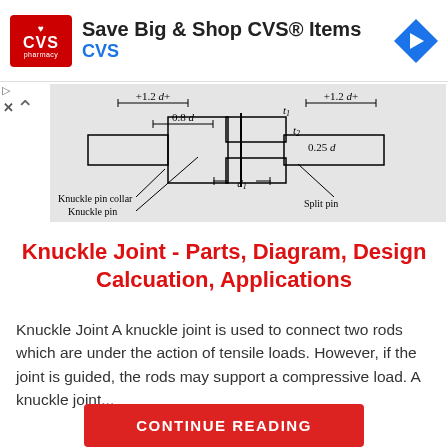[Figure (screenshot): CVS Pharmacy advertisement banner: CVS logo on red background, text 'Save Big & Shop CVS® Items', blue link 'CVS', blue diamond navigation arrow icon on right]
[Figure (engineering-diagram): Technical diagram of a knuckle joint cross-section showing dimensions: 1.2d width on each side, 0.8d measurement, t1 and t2 thickness labels, 0.25d measurement, d1 diameter. Labels: Knuckle pin collar, Knuckle pin, Split pin]
Knuckle Joint - Parts, Diagram, Design Calcuation, Applications
Knuckle Joint A knuckle joint is used to connect two rods which are under the action of tensile loads. However, if the joint is guided, the rods may support a compressive load. A knuckle joint...
CONTINUE READING